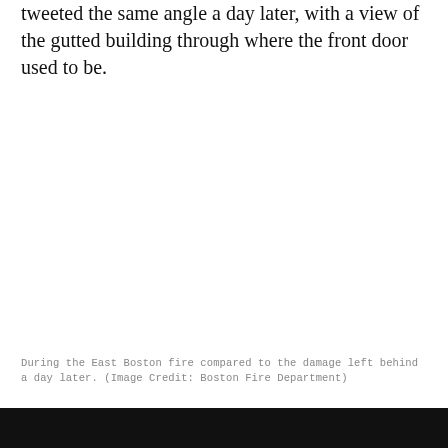tweeted the same angle a day later, with a view of the gutted building through where the front door used to be.
[Figure (photo): A large mostly white/blank image area representing a photo of the East Boston fire damage, gutted building view through the front door.]
During the East Boston fire compared to the damage left behind a day later. (Image Credit: Boston Fire Department)